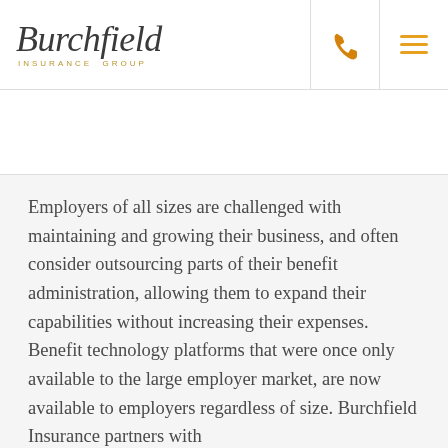[Figure (logo): Burchfield Insurance Group logo — italic script wordmark with 'INSURANCE GROUP' subtitle in gold/amber lettering]
Employers of all sizes are challenged with maintaining and growing their business, and often consider outsourcing parts of their benefit administration, allowing them to expand their capabilities without increasing their expenses. Benefit technology platforms that were once only available to the large employer market, are now available to employers regardless of size. Burchfield Insurance partners with